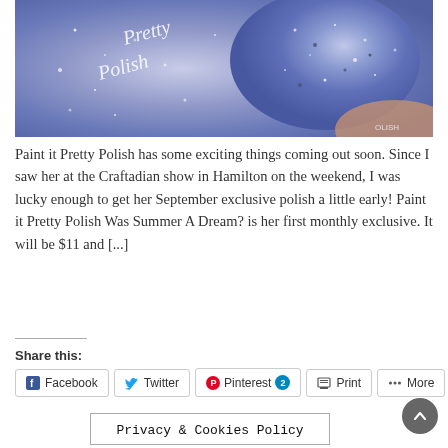[Figure (photo): Close-up photo of a glittery blue/purple nail polish bottle labeled 'Paint it Pretty Polish' with a painted fingernail showing the sparkly iridescent polish in blue-purple hues]
Paint it Pretty Polish has some exciting things coming out soon.  Since I saw her at the Craftadian show in Hamilton on the weekend, I was lucky enough to get her September exclusive polish a little early!  Paint it Pretty Polish Was Summer A Dream? is her first monthly exclusive.  It will be $11 and [...]
Share this:
Facebook  Twitter  Pinterest 2  Print  More
Privacy & Cookies Policy